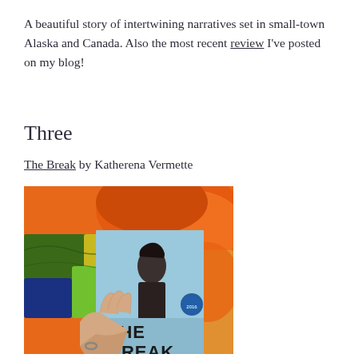A beautiful story of intertwining narratives set in small-town Alaska and Canada. Also the most recent review I've posted on my blog!
Three
The Break by Katherena Vermette
[Figure (photo): A hand holding a copy of the book 'The Break' by Katherena Vermette, resting on a colorful quilt with orange, red, green, and blue patterns. The book cover shows a woman in dark clothing with award stickers visible.]